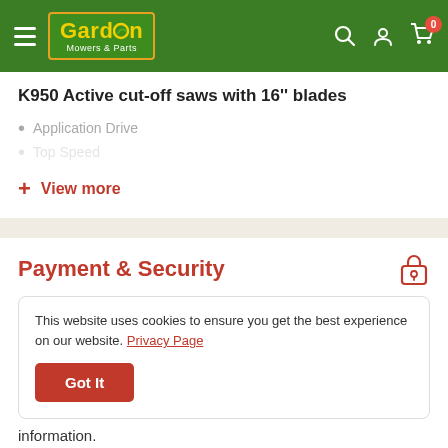Gardon Mowers & Parts — navigation header with hamburger menu, search, account, and cart icons
K950 Active cut-off saws with 16'' blades
Application Drive
Top Speed
+ View more
Payment & Security
This website uses cookies to ensure you get the best experience on our website. Privacy Page
Got It
information.